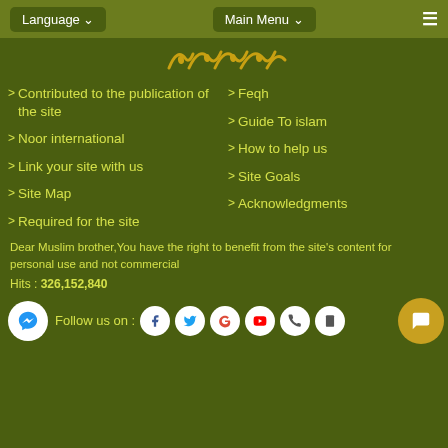Language  Main Menu
[Figure (logo): Arabic calligraphy logo in gold/orange]
Contributed to the publication of the site
Feqh
Guide To islam
Noor international
How to help us
Link your site with us
Site Goals
Site Map
Acknowledgments
Required for the site
Dear Muslim brother,You have the right to benefit from the site's content for personal use and not commercial
Hits : 326,152,840
Follow us on :